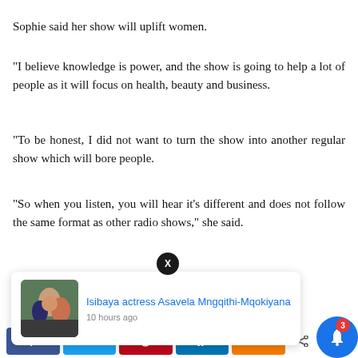Sophie said her show will uplift women.
“I believe knowledge is power, and the show is going to help a lot of people as it will focus on health, beauty and business.
“To be honest, I did not want to turn the show into another regular show which will bore people.
“So when you listen, you will hear it's different and does not follow the same format as other radio shows,” she said.
She said that she wanted the show to be interactive and fun.
xperience. We’ll out if you wi
[Figure (screenshot): Notification card overlay showing 'Isibaya actress Asavela Mngqithi-Mqokiyana' with thumbnail, posted 10 hours ago, with X close button]
[Figure (infographic): Social share bar with Facebook, Twitter, Pinterest, LinkedIn, and orange share buttons at bottom of page, with blue bell notification icon with badge showing 3]